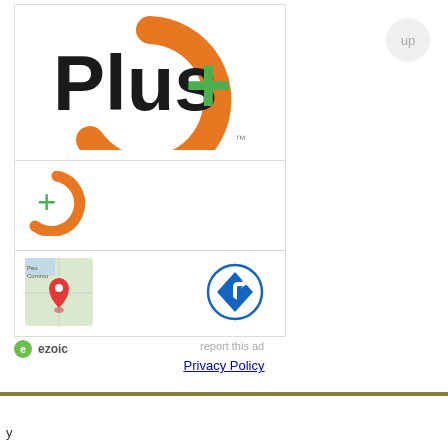[Figure (logo): Plus+ logo with orange arc and green plus sign, large version at top of ad unit]
[Figure (logo): Small Plus+ icon (green plus with orange arc)]
[Figure (screenshot): Small map thumbnail with red location pin]
[Figure (logo): Blue circle with white right-turn arrow icon]
[Figure (logo): Ezoic logo (green circle with e) and text 'ezoic']
report this ad
[Figure (other): Up button - circular grey button with 'up' label]
Privacy Policy
y